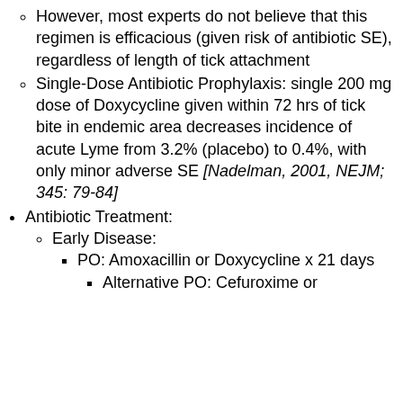However, most experts do not believe that this regimen is efficacious (given risk of antibiotic SE), regardless of length of tick attachment
Single-Dose Antibiotic Prophylaxis: single 200 mg dose of Doxycycline given within 72 hrs of tick bite in endemic area decreases incidence of acute Lyme from 3.2% (placebo) to 0.4%, with only minor adverse SE [Nadelman, 2001, NEJM; 345: 79-84]
Antibiotic Treatment:
Early Disease:
PO: Amoxacillin or Doxycycline x 21 days
Alternative PO: Cefuroxime or